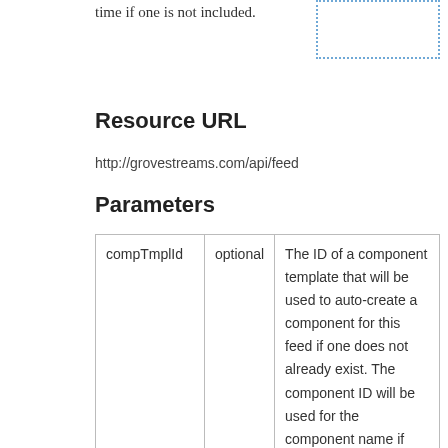time if one is not included.
Resource URL
http://grovestreams.com/api/feed
Parameters
|  |  |  |
| --- | --- | --- |
| compTmplId | optional | The ID of a component template that will be used to auto-create a component for this feed if one does not already exist. The component ID will be used for the component name if one is not provided. |
| folder | optional | The folder to place ... |